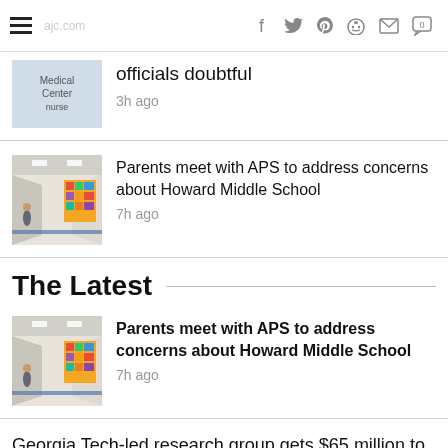≡ [site logo] f [twitter] [pinterest] [reddit] [mail] [comment 0]
officials doubtful
3h ago
[Figure (photo): Medical Center nurse label on left side thumbnail]
Medical Center nurse
Parents meet with APS to address concerns about Howard Middle School
7h ago
[Figure (photo): School hallway with colorful bulletin board and students]
The Latest
Parents meet with APS to address concerns about Howard Middle School
7h ago
[Figure (photo): School hallway with colorful bulletin board]
Georgia Tech-led research group gets $65 million to develop AI tools
8h ago